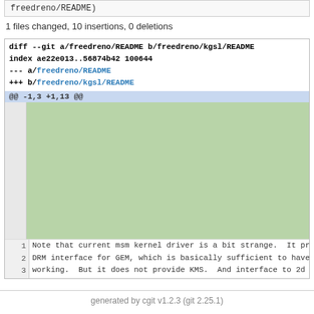freedreno/README)
1 files changed, 10 insertions, 0 deletions
[Figure (screenshot): Git diff output showing diff --git a/freedreno/README b/freedreno/kgsl/README, index ae22e013..56874b42 100644, --- a/freedreno/README, +++ b/freedreno/kgsl/README, hunk @@ -1,3 +1,13 @@, added lines block (green), and context lines 1-3 with text about msm kernel driver, DRM interface for GEM, and KMS]
generated by cgit v1.2.3 (git 2.25.1)
© Copyright 1995-2020 Texas Instruments Incorporated. All rights reserved. Trademarks | Privacy policy | Terms of use | Terms of sale